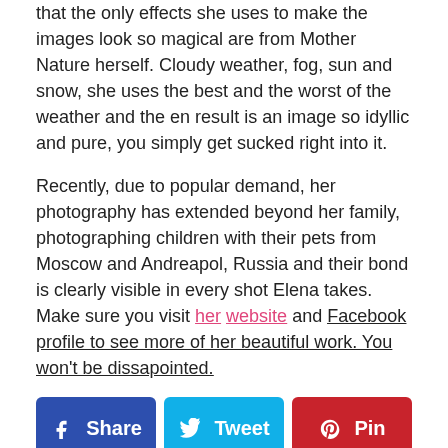Elena's photographs and her ability to the point that the only effects she uses to make the images look so magical are from Mother Nature herself. Cloudy weather, fog, sun and snow, she uses the best and the worst of the weather and the en result is an image so idyllic and pure, you simply get sucked right into it.
Recently, due to popular demand, her photography has extended beyond her family, photographing children with their pets from Moscow and Andreapol, Russia and their bond is clearly visible in every shot Elena takes. Make sure you visit her website and Facebook profile to see more of her beautiful work. You won't be dissapointed.
[Figure (other): Six social sharing buttons in two rows: Share (Facebook, blue), Tweet (Twitter, light blue), Pin (Pinterest, red), LinkedIn (teal), Email (green), Print (gray)]